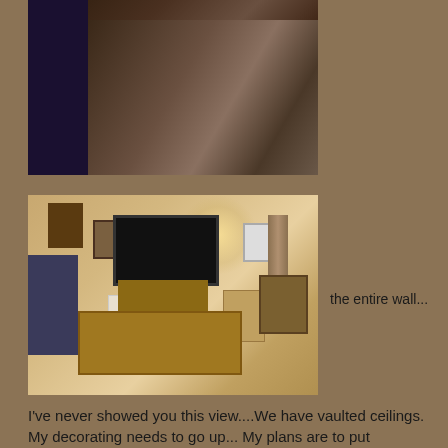[Figure (photo): Interior room photo showing furniture including a blue sofa, wooden chairs, and items against a wall in a dimly lit room]
the entire wall...
[Figure (photo): Living room interior photo showing a large flat-screen TV on a wooden entertainment center, blue sofa on left, coffee table in center, various decorative items and furniture]
I've never showed you this view....We have vaulted ceilings. My decorating needs to go up... My plans are to put